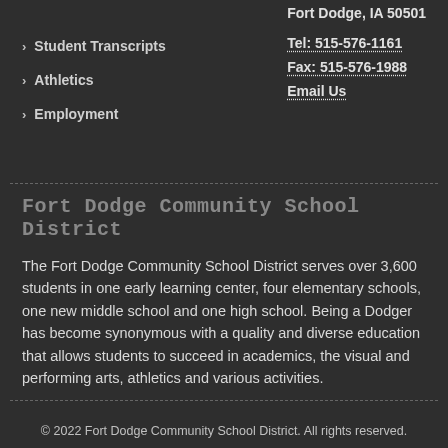Fort Dodge, IA 50501
> Student Transcripts
Tel: 515-576-1161
> Athletics
Fax: 515-576-1988
> Employment
Email Us
Fort Dodge Community School District
The Fort Dodge Community School District serves over 3,600 students in one early learning center, four elementary schools, one new middle school and one high school. Being a Dodger has become synonymous with a quality and diverse education that allows students to succeed in academics, the visual and performing arts, athletics and various activities.
© 2022 Fort Dodge Community School District. All rights reserved.